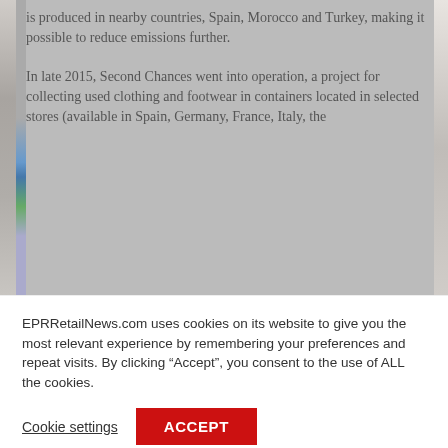[Figure (photo): Left side of a retail store interior image, partially visible with color bars on the left edge and content cut off on the right.]
is produced in nearby countries, Spain, Morocco and Turkey, making it possible to reduce emissions further.
In late 2015, Second Chances went into operation, a project for collecting used clothing and footwear in containers located in selected stores (available in Spain, Germany, France, Italy, the
EPRRetailNews.com uses cookies on its website to give you the most relevant experience by remembering your preferences and repeat visits. By clicking “Accept”, you consent to the use of ALL the cookies.
Cookie settings
ACCEPT